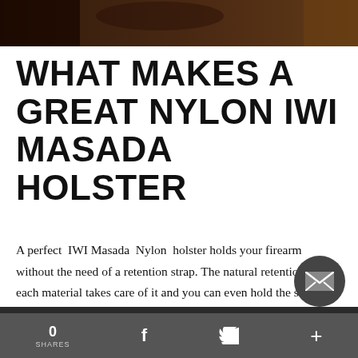[Figure (photo): Dark photo showing a hand holding a firearm/holster, cropped at top of page]
WHAT MAKES A GREAT NYLON IWI MASADA HOLSTER
A perfect IWI Masada Nylon holster holds your firearm without the need of a retention strap. The natural retention of each material takes care of it and you can even hold the scabbard upside down without the firearm falling of. Or you can rely on the retention strap which can have several levels of retention. Another treat of a great IWI Masada Nylon gunholster are smooth
0 SHARES  f  [twitter]  +